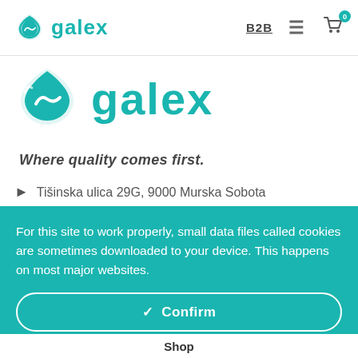galex B2B [menu] [cart 0]
[Figure (logo): Galex logo — teal water-drop icon with 'galex' wordmark in teal]
Where quality comes first.
Tišinska ulica 29G, 9000 Murska Sobota
For this site to work properly, small data files called cookies are sometimes downloaded to your device. This happens on most major websites.
✔  Confirm
Spremeni nastavitve  ⚙
Shop